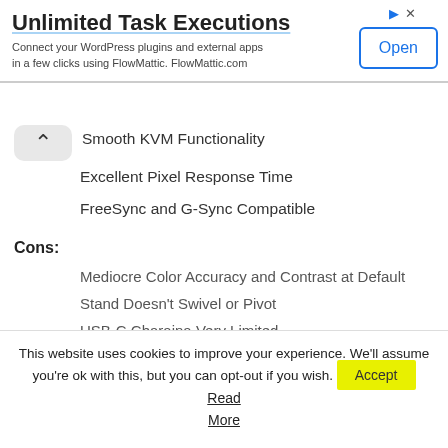[Figure (screenshot): Advertisement banner for FlowMattic with 'Unlimited Task Executions' title, subtitle text, and an 'Open' button]
Smooth KVM Functionality
Excellent Pixel Response Time
FreeSync and G-Sync Compatible
Cons:
Mediocre Color Accuracy and Contrast at Default
Stand Doesn't Swivel or Pivot
USB-C Charging Very Limited
This website uses cookies to improve your experience. We'll assume you're ok with this, but you can opt-out if you wish. Accept Read More